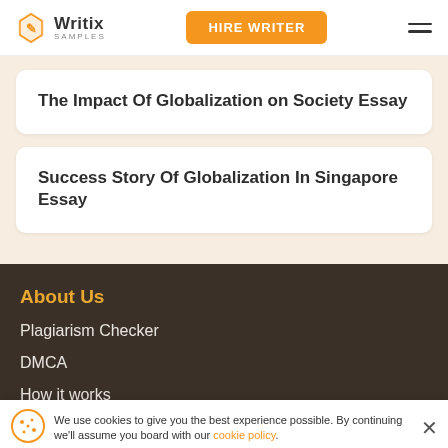Writix SAMPLES | HIRE WRITER
The Impact Of Globalization on Society Essay
Success Story Of Globalization In Singapore Essay
About Us
Plagiarism Checker
DMCA
How it works
FAQ
We use cookies to give you the best experience possible. By continuing we'll assume you board with our cookie policy.